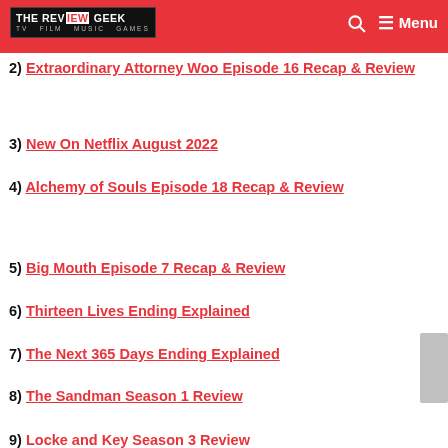THE REVIEW GEEK — TV FILM MUSIC GAMES | Menu
2) Extraordinary Attorney Woo Episode 16 Recap & Review
3) New On Netflix August 2022
4) Alchemy of Souls Episode 18 Recap & Review
5) Big Mouth Episode 7 Recap & Review
6) Thirteen Lives Ending Explained
7) The Next 365 Days Ending Explained
8) The Sandman Season 1 Review
9) Locke and Key Season 3 Review